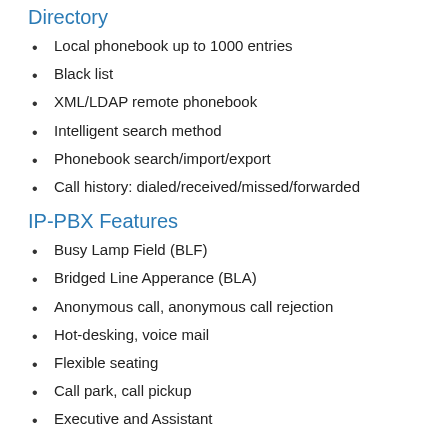Directory
Local phonebook up to 1000 entries
Black list
XML/LDAP remote phonebook
Intelligent search method
Phonebook search/import/export
Call history: dialed/received/missed/forwarded
IP-PBX Features
Busy Lamp Field (BLF)
Bridged Line Apperance (BLA)
Anonymous call, anonymous call rejection
Hot-desking, voice mail
Flexible seating
Call park, call pickup
Executive and Assistant